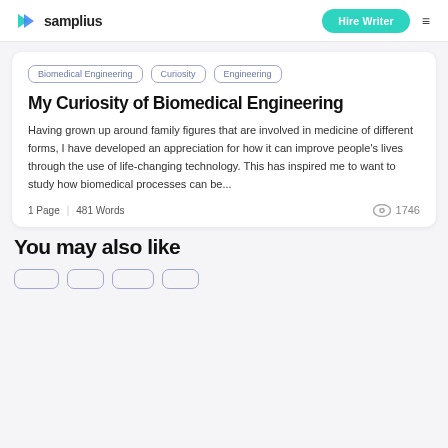samplius | Hire Writer
Biomedical Engineering
Curiosity
Engineering
My Curiosity of Biomedical Engineering
Having grown up around family figures that are involved in medicine of different forms, I have developed an appreciation for how it can improve people's lives through the use of life-changing technology. This has inspired me to want to study how biomedical processes can be...
1 Page  |  481 Words   1746
You may also like